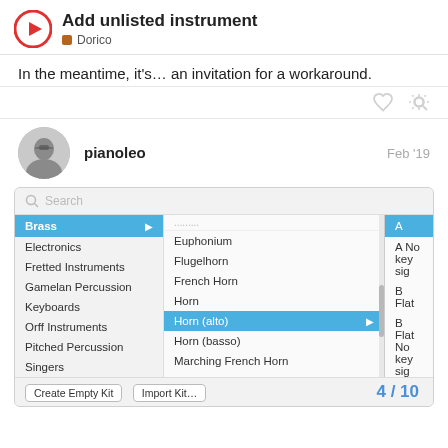Add unlisted instrument — Dorico
In the meantime, it's… an invitation for a workaround.
pianoleo  Feb '19
[Figure (screenshot): Dorico instrument picker UI showing a three-column list: left column with Brass selected (blue), middle column listing brass instruments with Horn (alto) highlighted in blue, right column showing transposition options A (highlighted), A No key sig, B Flat, B Flat No key sig, C, C No key sig. Search bar at top and Create Empty Kit / Import Kit buttons at bottom.]
4 / 10